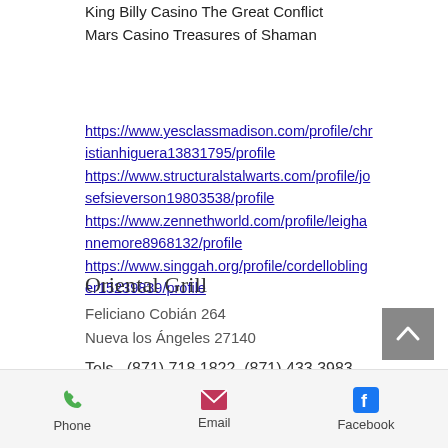King Billy Casino The Great Conflict
Mars Casino Treasures of Shaman
https://www.yesclassmadison.com/profile/christianhiguera13831795/profile https://www.structuralstalwarts.com/profile/josefsieverson19803538/profile https://www.zennethworld.com/profile/leighannemore8968132/profile https://www.singgah.org/profile/cordelloblinger15239839/profile
Oriental Grill
Feliciano Cobián 264
Nueva los Ángeles 27140
Tels.  (871) 718 1822, (871) 433 3983
Phone  Email  Facebook